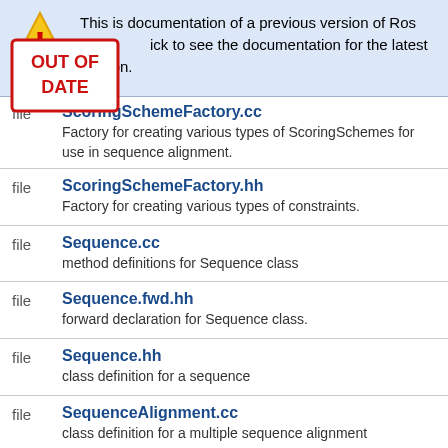This is documentation of a previous version of Rosetta. Click to see the documentation for the latest version.
[Figure (illustration): Warning triangle with exclamation mark and 'OUT OF DATE' red stamp overlay]
file  ScoringSchemeFactory.cc  Factory for creating various types of ScoringSchemes for use in sequence alignment.
file  ScoringSchemeFactory.hh  Factory for creating various types of constraints.
file  Sequence.cc  method definitions for Sequence class
file  Sequence.fwd.hh  forward declaration for Sequence class.
file  Sequence.hh  class definition for a sequence
file  SequenceAlignment.cc  class definition for a multiple sequence alignment
file  SequenceAlignment.fwd.hh